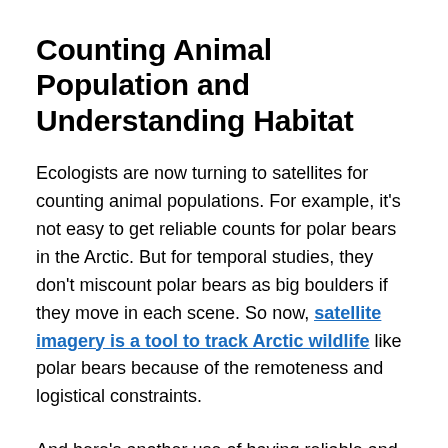Counting Animal Population and Understanding Habitat
Ecologists are now turning to satellites for counting animal populations. For example, it's not easy to get reliable counts for polar bears in the Arctic. But for temporal studies, they don't miscount polar bears as big boulders if they move in each scene. So now, satellite imagery is a tool to track Arctic wildlife like polar bears because of the remoteness and logistical constraints.
And here's another use of having reliable and accurate land cover data. We can study animal